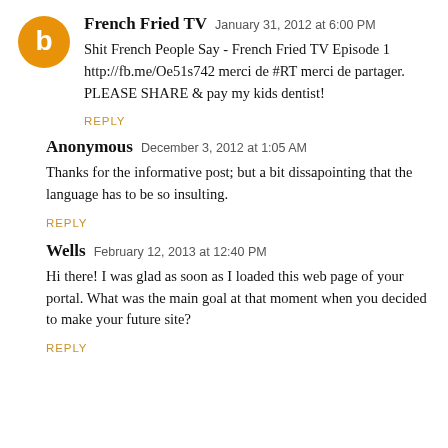French Fried TV  January 31, 2012 at 6:00 PM
Shit French People Say - French Fried TV Episode 1 http://fb.me/Oe51s742 merci de #RT merci de partager. PLEASE SHARE & pay my kids dentist!
REPLY
Anonymous  December 3, 2012 at 1:05 AM
Thanks for the informative post; but a bit dissapointing that the language has to be so insulting.
REPLY
Wells  February 12, 2013 at 12:40 PM
Hi there! I was glad as soon as I loaded this web page of your portal. What was the main goal at that moment when you decided to make your future site?
REPLY